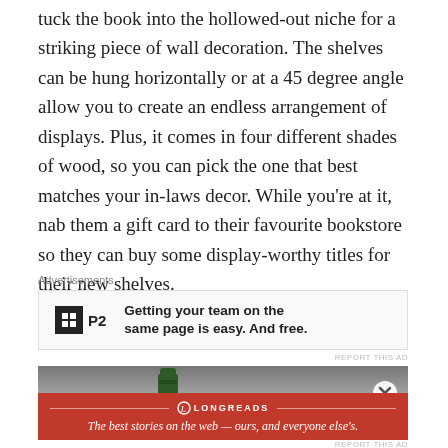tuck the book into the hollowed-out niche for a striking piece of wall decoration. The shelves can be hung horizontally or at a 45 degree angle allow you to create an endless arrangement of displays. Plus, it comes in four different shades of wood, so you can pick the one that best matches your in-laws decor. While you're at it, nab them a gift card to their favourite bookstore so they can buy some display-worthy titles for their new shelves.
Advertisements
[Figure (screenshot): P2 advertisement banner: logo with grid icon and 'P2' text, headline 'Getting your team on the same page is easy. And free.']
REPORT THIS AD
[Figure (photo): Advertisement showing a dark green bottle against a grey gradient background, with a circular close (X) button overlay]
Advertisements
[Figure (screenshot): Longreads advertisement: red background with Longreads logo and tagline 'The best stories on the web — ours, and everyone else's.']
REPORT THIS AD